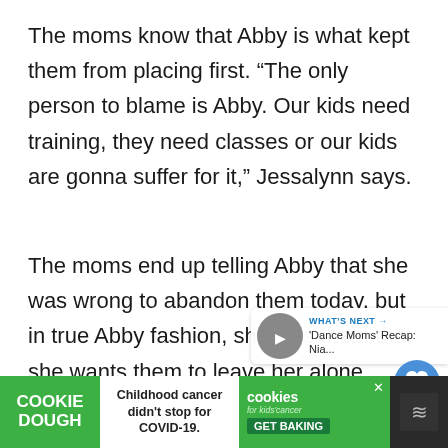The moms know that Abby is what kept them from placing first. “The only person to blame is Abby. Our kids need training, they need classes or our kids are gonna suffer for it,” Jessalynn says.
The moms end up telling Abby that she was wrong to abandon them today, but in true Abby fashion, she tells them that she wants them to leave her alone. Shocking, n
[Figure (screenshot): UI overlay showing a blue heart/like button, a share button, and a 'What's Next' panel with a thumbnail and text reading 'Dance Moms' Recap: Nia...']
[Figure (screenshot): Advertisement banner at the bottom: Cookie Dough brand ad with green background. Left section shows 'COOKIE DOUGH' text in white. Center shows 'Childhood cancer didn't stop for COVID-19.' Right section shows 'cookies for kids cancer' logo and 'GET BAKING' CTA button.]